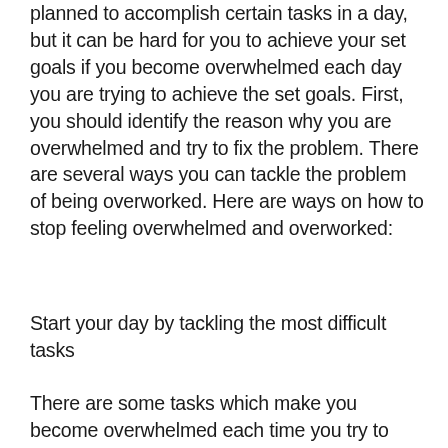planned to accomplish certain tasks in a day, but it can be hard for you to achieve your set goals if you become overwhelmed each day you are trying to achieve the set goals. First, you should identify the reason why you are overwhelmed and try to fix the problem. There are several ways you can tackle the problem of being overworked. Here are ways on how to stop feeling overwhelmed and overworked:
Start your day by tackling the most difficult tasks
There are some tasks which make you become overwhelmed each time you try to